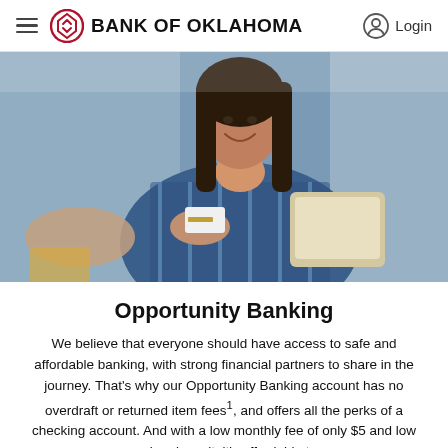BANK OF OKLAHOMA — Navigation bar with hamburger menu, logo, and Login button
[Figure (photo): A smiling young woman in a blue plaid shirt handing a card to someone at a point-of-sale terminal with a tablet, retail/checkout environment background]
Opportunity Banking
We believe that everyone should have access to safe and affordable banking, with strong financial partners to share in the journey. That's why our Opportunity Banking account has no overdraft or returned item fees¹, and offers all the perks of a checking account. And with a low monthly fee of only $5 and low opening deposit, it's affordable too.